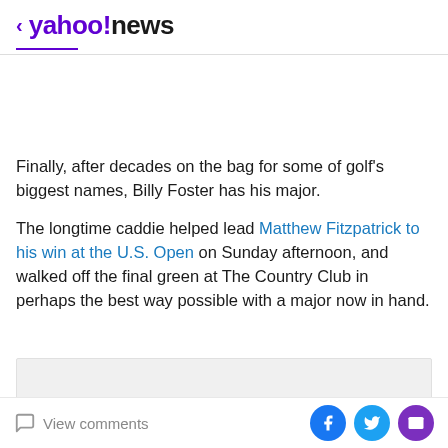< yahoo!news
Finally, after decades on the bag for some of golf's biggest names, Billy Foster has his major.
The longtime caddie helped lead Matthew Fitzpatrick to his win at the U.S. Open on Sunday afternoon, and walked off the final green at The Country Club in perhaps the best way possible with a major now in hand.
[Figure (other): Gray advertisement placeholder box]
View comments | Share on Facebook | Share on Twitter | Share via email